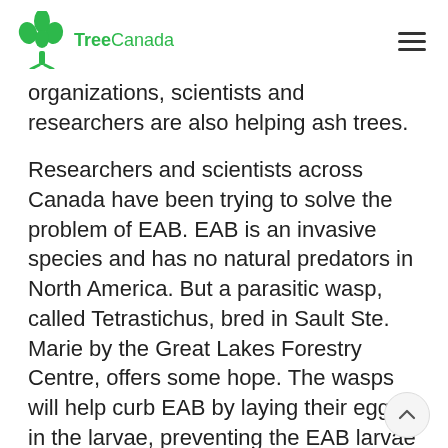TreeCanada
organizations, scientists and researchers are also helping ash trees.
Researchers and scientists across Canada have been trying to solve the problem of EAB. EAB is an invasive species and has no natural predators in North America. But a parasitic wasp, called Tetrastichus, bred in Sault Ste. Marie by the Great Lakes Forestry Centre, offers some hope. The wasps will help curb EAB by laying their eggs in the larvae, preventing the EAB larvae from reaching maturity. While it is not a solution to the problem, the wasps will help mitigate the